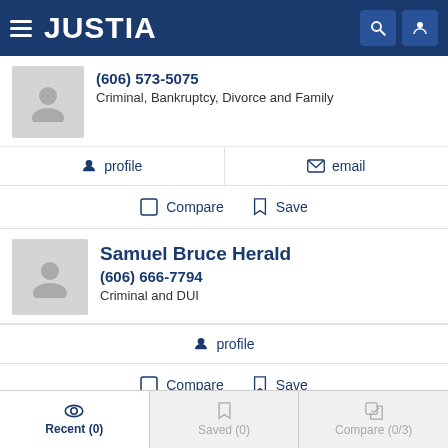JUSTIA
(606) 573-5075
Criminal, Bankruptcy, Divorce and Family
profile   email
Compare   Save
Samuel Bruce Herald
(606) 666-7794
Criminal and DUI
profile
Compare   Save
Recent (0)   Saved (0)   Compare (0/3)